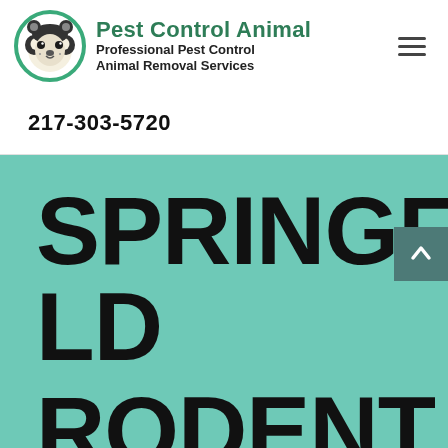[Figure (logo): Pest Control Animal logo — circular icon with raccoon face in green border circle, next to bold green text 'Pest Control Animal' and subtitle 'Professional Pest Control Animal Removal Services']
217-303-5720
SPRINGFIELD RODENT